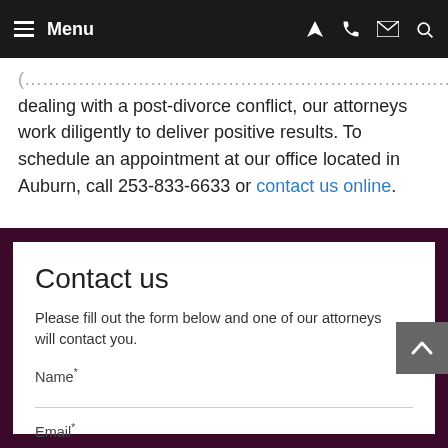Menu
dealing with a post-divorce conflict, our attorneys work diligently to deliver positive results. To schedule an appointment at our office located in Auburn, call 253-833-6633 or contact us online.
Contact us
Please fill out the form below and one of our attorneys will contact you.
Name*
Email*
Phone*